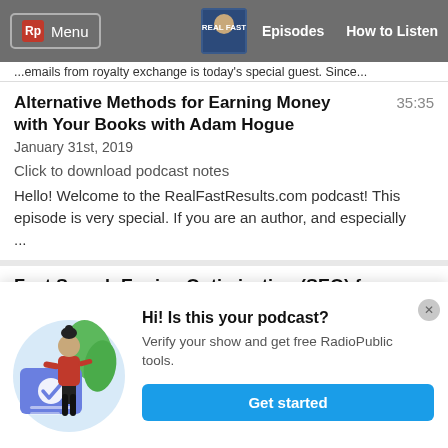Menu | Episodes | How to Listen
...emails from royalty exchange is today's special guest. Since...
Alternative Methods for Earning Money with Your Books with Adam Hogue
35:35
January 31st, 2019
Click to download podcast notes
Hello! Welcome to the RealFastResults.com podcast! This episode is very special. If you are an author, and especially ...
Fast Search Engine Optimization (SEO) for
[Figure (illustration): Illustration of a woman in red top and black pants standing next to a large blue card with a check mark, with green leaves in the background]
Hi! Is this your podcast? Verify your show and get free RadioPublic tools. Get started